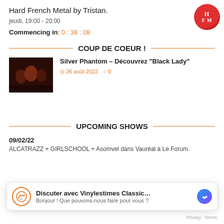Hard French Metal by Tristan.
jeudi, 19:00 - 20:00
Commencing in: 0 : 38 : 08
[Figure (logo): HFM logo — red metallic circle with HFM text]
COUP DE COEUR !
[Figure (photo): Dark band photo for Silver Phantom article]
Silver Phantom – Découvrez "Black Lady"
26 août 2022  0
UPCOMING SHOWS
09/02/22
ALCATRAZZ + GIRLSCHOOL + Asomvel dans Vauréal à Le Forum.
[Figure (screenshot): Chat overlay: Discuter avec Vinylestimes Classic... Bonjour ! Que pouvons-nous faire pour vous ?]
09/03/22
ALCATRAZZ + GIRLSCHOOL + Asomvel dans …